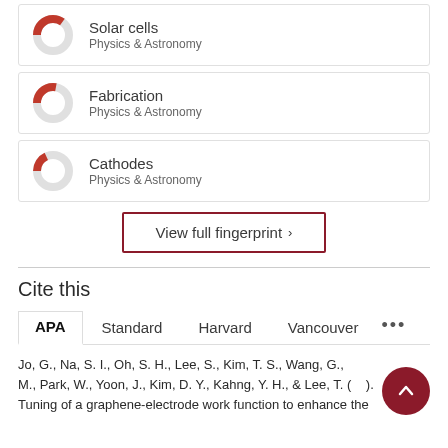[Figure (donut-chart): Donut chart showing partial fill for 'Solar cells' in Physics & Astronomy]
Solar cells
Physics & Astronomy
[Figure (donut-chart): Donut chart showing partial fill for 'Fabrication' in Physics & Astronomy]
Fabrication
Physics & Astronomy
[Figure (donut-chart): Donut chart showing partial fill for 'Cathodes' in Physics & Astronomy]
Cathodes
Physics & Astronomy
View full fingerprint ›
Cite this
APA | Standard | Harvard | Vancouver | …
Jo, G., Na, S. I., Oh, S. H., Lee, S., Kim, T. S., Wang, G., M., Park, W., Yoon, J., Kim, D. Y., Kahng, Y. H., & Lee, T. (…). Tuning of a graphene-electrode work function to enhance the